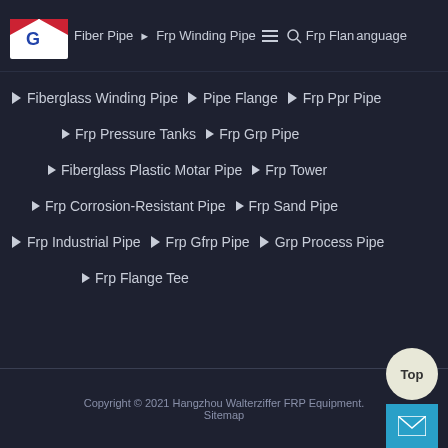Fiber Pipe ▶ Frp Winding Pipe ▶ Frp Flange Language
▶ Fiberglass Winding Pipe  ▶ Pipe Flange  ▶ Frp Ppr Pipe
▶ Frp Pressure Tanks  ▶ Frp Grp Pipe
▶ Fiberglass Plastic Motar Pipe  ▶ Frp Tower
▶ Frp Corrosion-Resistant Pipe  ▶ Frp Sand Pipe
▶ Frp Industrial Pipe  ▶ Frp Gfrp Pipe  ▶ Grp Process Pipe
▶ Frp Flange Tee
Copyright © 2021 Hangzhou Walterziffer FRP Equipment. Sitemap